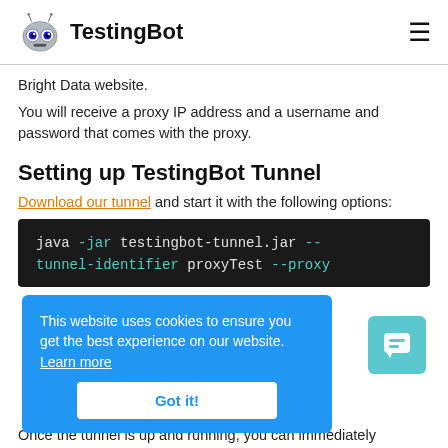TestingBot
Bright Data website.
You will receive a proxy IP address and a username and password that comes with the proxy.
Setting up TestingBot Tunnel
Download our tunnel and start it with the following options:
[Figure (screenshot): Code block showing: java -jar testingbot-tunnel.jar --tunnel-identifier proxyTest --proxy]
This website uses cookies to ensure you get the best experience on our website. Learn more
Got it!
Once the tunnel is up and running, you can immediately